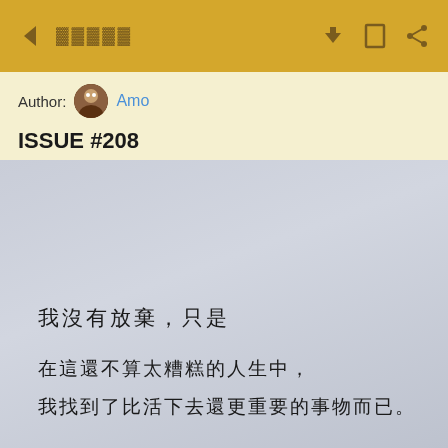← ▓▓▓▓▓   ⬇ □ ≤
Author: Amo
ISSUE #208
▓▓▓▓▓▓▓▓ · ▓▓
[Figure (photo): Light blue-grey paper background with handwritten Chinese text: '我沒有放棄，只是' on first line, then '在這還不算太糟糕的人生中，' and '我找到了比活下去還更重要的事物而已。']